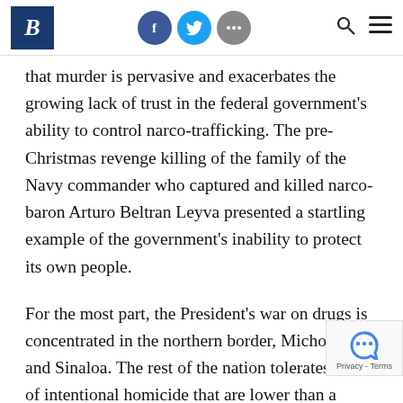B [logo] | Facebook | Twitter | More | Search | Menu
that murder is pervasive and exacerbates the growing lack of trust in the federal government's ability to control narco-trafficking. The pre-Christmas revenge killing of the family of the Navy commander who captured and killed narco-baron Arturo Beltran Leyva presented a startling example of the government's inability to protect its own people.
For the most part, the President's war on drugs is concentrated in the northern border, Michoacán and Sinaloa. The rest of the nation tolerates le of intentional homicide that are lower than a ago. More pervasive and critical to a sense of well-